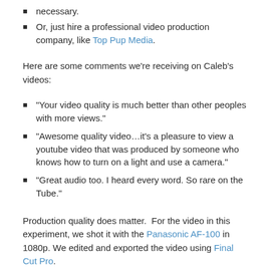necessary.
Or, just hire a professional video production company, like Top Pup Media.
Here are some comments we're receiving on Caleb's videos:
“Your video quality is much better than other peoples with more views.”
“Awesome quality video…it’s a pleasure to view a youtube video that was produced by someone who knows how to turn on a light and use a camera.”
“Great audio too. I heard every word. So rare on the Tube.”
Production quality does matter.  For the video in this experiment, we shot it with the Panasonic AF-100 in 1080p. We edited and exported the video using Final Cut Pro.
Build Your Tabs landscape